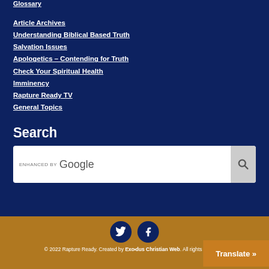Glossary
Article Archives
Understanding Biblical Based Truth
Salvation Issues
Apologetics – Contending for Truth
Check Your Spiritual Health
Imminency
Rapture Ready TV
General Topics
Search
[Figure (screenshot): Google enhanced search box with search button]
© 2022 Rapture Ready. Created by Exodus Christian Web. All rights reserved.